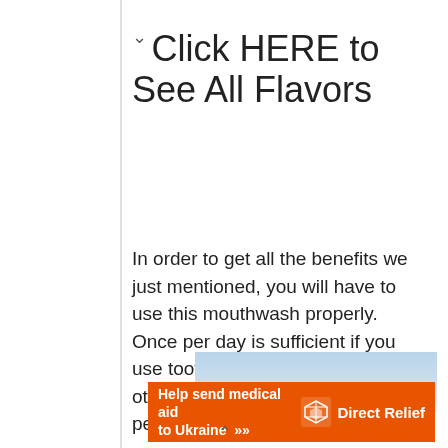Click HERE to See All Flavors
In order to get all the benefits we just mentioned, you will have to use this mouthwash properly. Once per day is sufficient if you use toothpaste with fluoride. In any other situation, 2 times are just perfect.
[Figure (photo): Partial image with blue sky background and orange text FOR A partially visible]
[Figure (infographic): Orange advertisement banner reading 'Help send medical aid to Ukraine >>' with Direct Relief logo and name in white]